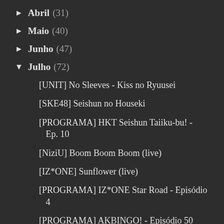► Abril (31)
► Maio (40)
► Junho (47)
▼ Julho (72)
[UNIT] No Sleeves - Kiss no Ryuusei
[SKE48] Seishun no Houseki
[PROGRAMA] HKT Seishun Taiiku-bu! - Ep. 10
[NiziU] Boom Boom Boom (live)
[IZ*ONE] Sunflower (live)
[PROGRAMA] IZ*ONE Star Road - Episódio 4
[PROGRAMA] AKBINGO! - Episódio 50
[LIVE] Shita no Na de Yobeta no wa...
[OUC48] 365nichi no Kamihikouki
[DORAMA] Saru ni Au - Episódio 2